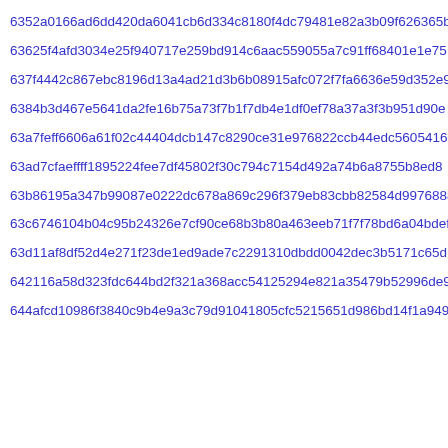6352a0166ad6dd420da6041cb6d334c8180f4dc79481e82a3b09f626365b7
63625f4afd3034e25f940717e259bd914c6aac559055a7c91ff68401e1e75
637f4442c867ebc8196d13a4ad21d3b6b08915afc072f7fa6636e59d352e9
6384b3d467e5641da2fe16b75a73f7b1f7db4e1df0ef78a37a3f3b951d90e
63a7feff6606a61f02c44404dcb147c8290ce31e976822ccb44edc5605416
63ad7cfaeffff1895224fee7df45802f30c794c7154d492a74b6a8755b8ed8
63b86195a347b99087e0222dc678a869c296f379eb83cbb82584d997688875
63c6746104b04c95b24326e7cf90ce68b3b80a463eeb71f7f78bd6a04bdef
63d11af8df52d4e271f23de1ed9ade7c2291310dbdd0042dec3b5171c65d1
642116a58d323fdc644bd2f321a368acc54125294e821a35479b52996de9e
644afcd10986f3840c9b4e9a3c79d91041805cfc5215651d986bd14f1a949